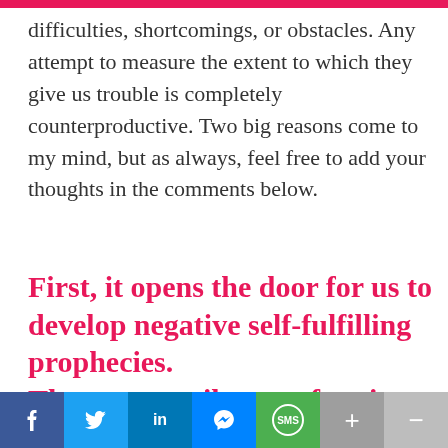difficulties, shortcomings, or obstacles. Any attempt to measure the extent to which they give us trouble is completely counterproductive. Two big reasons come to my mind, but as always, feel free to add your thoughts in the comments below.
First, it opens the door for us to develop negative self-fulfilling prophecies. These can easily resurface in the practice room, or even
f  t  in  [messenger]  SMS  +  -